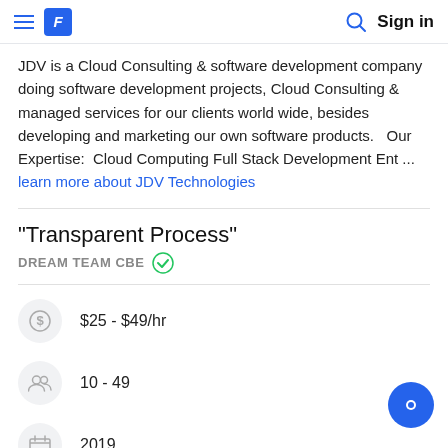Sign in
JDV is a Cloud Consulting & software development company doing software development projects, Cloud Consulting & managed services for our clients world wide, besides developing and marketing our own software products.   Our Expertise:  Cloud Computing Full Stack Development Ent ... learn more about JDV Technologies
"Transparent Process"
DREAM TEAM CBE
$25 - $49/hr
10 - 49
2019